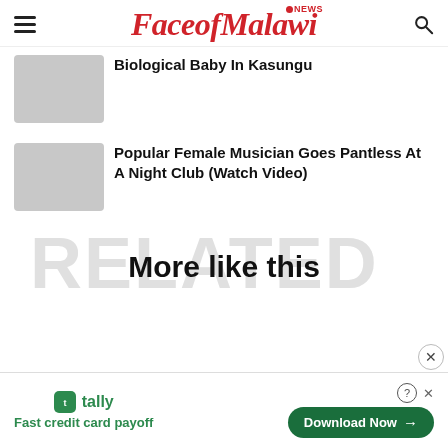FaceofMalawi NEWS
Biological Baby In Kasungu
Popular Female Musician Goes Pantless At A Night Club (Watch Video)
More like this
[Figure (screenshot): Advertisement banner: Tally app - Fast credit card payoff with Download Now button]